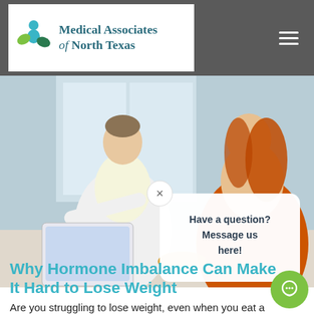Medical Associates of North Texas
[Figure (photo): A female doctor in a white coat showing information on a tablet to a female patient with red/orange hair, seated at a table. A chat popup overlay reads: Have a question? Message us here!]
Why Hormone Imbalance Can Make It Hard to Lose Weight
Are you struggling to lose weight, even when you eat a